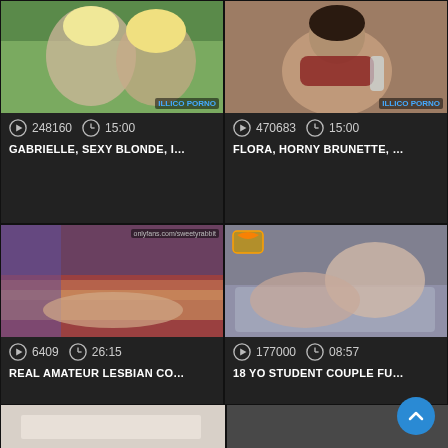[Figure (screenshot): Video thumbnail grid showing adult video platform with 4 video cards and 2 partial cards at bottom]
248160  15:00
GABRIELLE, SEXY BLONDE, I...
470683  15:00
FLORA, HORNY BRUNETTE, ...
6409  26:15
REAL AMATEUR LESBIAN CO...
177000  08:57
18 YO STUDENT COUPLE FU...